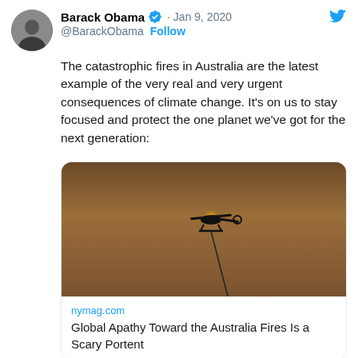Barack Obama · Jan 9, 2020
@BarackObama · Follow
The catastrophic fires in Australia are the latest example of the very real and very urgent consequences of climate change. It's on us to stay focused and protect the one planet we've got for the next generation:
[Figure (photo): Helicopter silhouetted against smoky orange-brown sky, towing a line, over Australian bushfires. Link card from nymag.com titled: Global Apathy Toward the Australia Fires Is a Scary Portent]
nymag.com
Global Apathy Toward the Australia Fires Is a Scary Portent
Barack Obama
@BarackObama · Follow